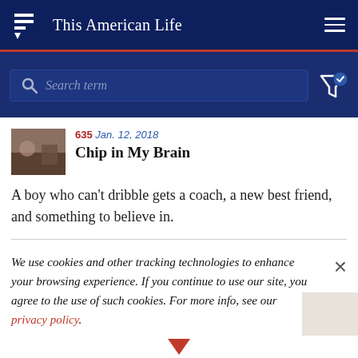This American Life
Search term
635  Jan. 12, 2018
Chip in My Brain
A boy who can't dribble gets a coach, a new best friend, and something to believe in.
We use cookies and other tracking technologies to enhance your browsing experience. If you continue to use our site, you agree to the use of such cookies. For more info, see our privacy policy.